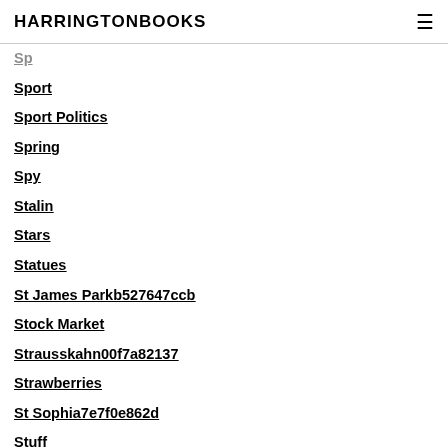HARRINGTONBOOKS
Sp...
Sport
Sport Politics
Spring
Spy
Stalin
Stars
Statues
St James Parkb527647ccb
Stock Market
Strausskahn00f7a82137
Strawberries
St Sophia7e7f0e862d
Stuff
Stupidity
Stupid People
Stupid Saying